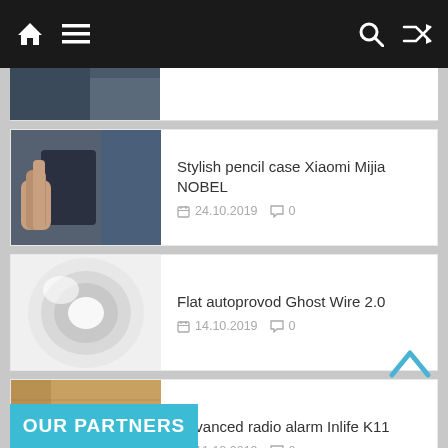Navigation bar with home, menu, search, and shuffle icons
[Figure (photo): Partial image cut off at top of page]
Stylish pencil case Xiaomi Mijia NOBEL
24.10.2019  0
[Figure (photo): Roll of white flat cable tape]
Flat autoprovod Ghost Wire 2.0
14.10.2019  0
[Figure (photo): Digital alarm clock radio Inlife K11 on wooden surface]
Advanced radio alarm Inlife K11
11.10.2019  0
OUR PARTNERS